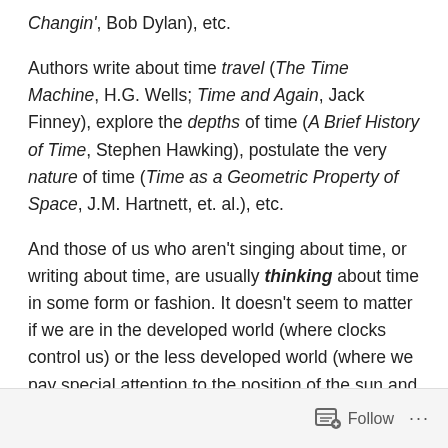Changin', Bob Dylan), etc.
Authors write about time travel (The Time Machine, H.G. Wells; Time and Again, Jack Finney), explore the depths of time (A Brief History of Time, Stephen Hawking), postulate the very nature of time (Time as a Geometric Property of Space, J.M. Hartnett, et. al.), etc.
And those of us who aren't singing about time, or writing about time, are usually thinking about time in some form or fashion. It doesn't seem to matter if we are in the developed world (where clocks control us) or the less developed world (where we pay special attention to the position of the sun and other heavenly bodies); mankind seems to be preoccupied with time.
Follow ···